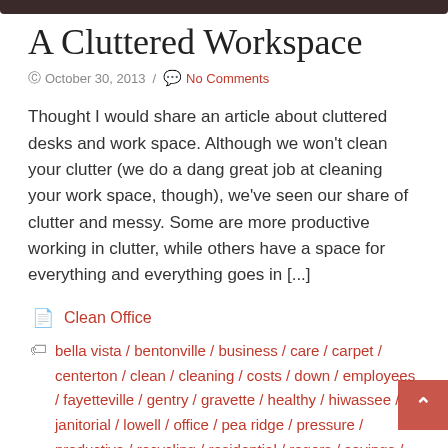A Cluttered Workspace
October 30, 2013 / No Comments
Thought I would share an article about cluttered desks and work space. Although we won't clean your clutter (we do a dang great job at cleaning your work space, though), we've seen our share of clutter and messy. Some are more productive working in clutter, while others have a space for everything and everything goes in [...]
Clean Office
bella vista / bentonville / business / care / carpet / centerton / clean / cleaning / costs / down / employees / fayetteville / gentry / gravette / healthy / hiwassee / janitorial / lowell / office / pea ridge / pressure / productive / recycling / residential / rogers / savings / shampooing / springdale / value / washing